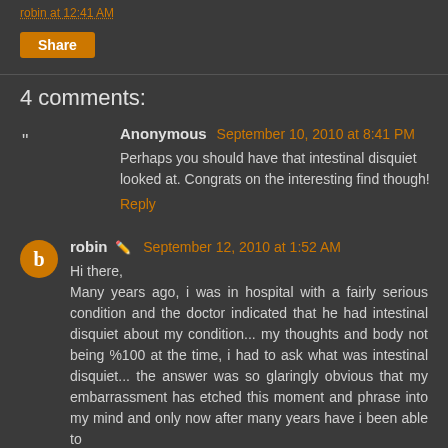robin at 12:41 AM
Share
4 comments:
Anonymous  September 10, 2010 at 8:41 PM
Perhaps you should have that intestinal disquiet looked at. Congrats on the interesting find though!
Reply
robin  September 12, 2010 at 1:52 AM
Hi there,
Many years ago, i was in hospital with a fairly serious condition and the doctor indicated that he had intestinal disquiet about my condition... my thoughts and body not being %100 at the time, i had to ask what was intestinal disquiet... the answer was so glaringly obvious that my embarrassment has etched this moment and phrase into my mind and only now after many years have i been able to